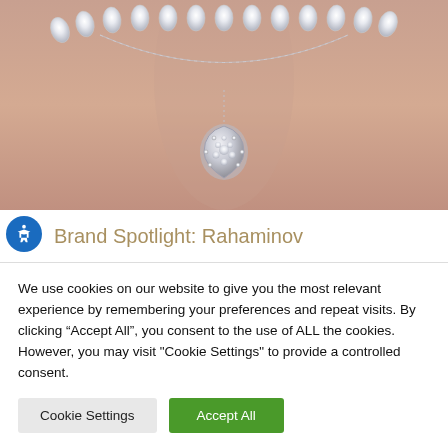[Figure (photo): Close-up photo of a woman's neck wearing a diamond necklace with a teardrop-shaped pendant and a larger diamond-encrusted choker necklace]
Brand Spotlight: Rahaminov
We use cookies on our website to give you the most relevant experience by remembering your preferences and repeat visits. By clicking “Accept All”, you consent to the use of ALL the cookies. However, you may visit "Cookie Settings" to provide a controlled consent.
Cookie Settings
Accept All